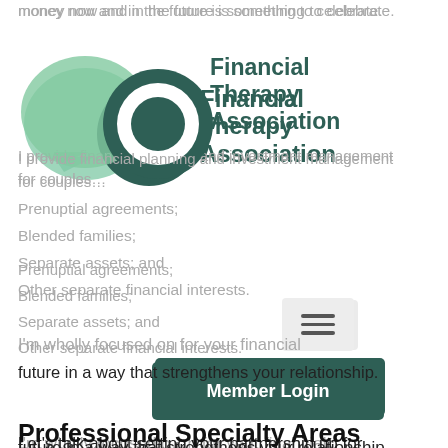money now and in the future is something to celebrate.
[Figure (logo): Financial Therapy Association logo with two speech bubble icons (a green bubble and a dark teal circle with white ring) beside the text 'Financial Therapy Association']
I provide financial planning and investment management for couples...
Prenuptial agreements;
Blended families;
Separate assets; and
Other separate financial interests.
I'm wholly focused on planning for your financial future in a way that strengthens your relationship.
Let's talk about setting your partnership up for success.
Professional Specialty Areas